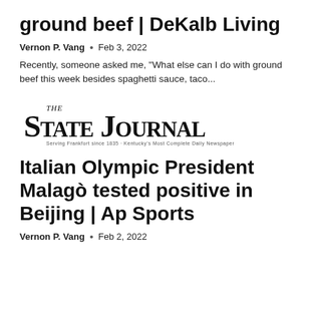ground beef | DeKalb Living
Vernon P. Vang  •  Feb 3, 2022
Recently, someone asked me, "What else can I do with ground beef this week besides spaghetti sauce, taco...
[Figure (logo): The State Journal newspaper logo in blackletter/gothic typeface with subtitle text]
Italian Olympic President Malagò tested positive in Beijing | Ap Sports
Vernon P. Vang  •  Feb 2, 2022